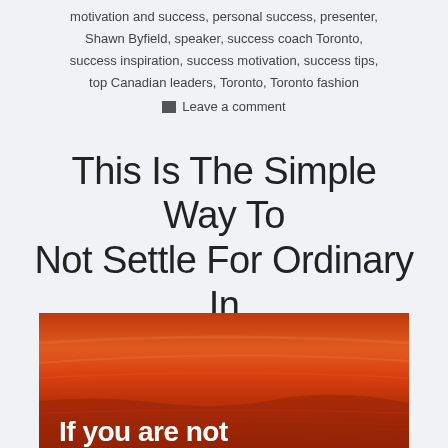motivation and success, personal success, presenter, Shawn Byfield, speaker, success coach Toronto, success inspiration, success motivation, success tips, top Canadian leaders, Toronto, Toronto fashion
Leave a comment
This Is The Simple Way To Not Settle For Ordinary In The 21st Century
[Figure (photo): Warm orange-red sunset or desert landscape photo with text overlay reading 'If you are not']